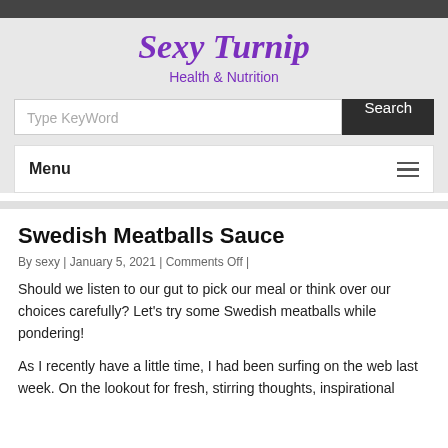Sexy Turnip — Health & Nutrition
Sexy Turnip
Health & Nutrition
Type KeyWord
Search
Menu
Swedish Meatballs Sauce
By sexy | January 5, 2021 | Comments Off |
Should we listen to our gut to pick our meal or think over our choices carefully? Let's try some Swedish meatballs while pondering!
As I recently have a little time, I had been surfing on the web last week. On the lookout for fresh, stirring thoughts, inspirational